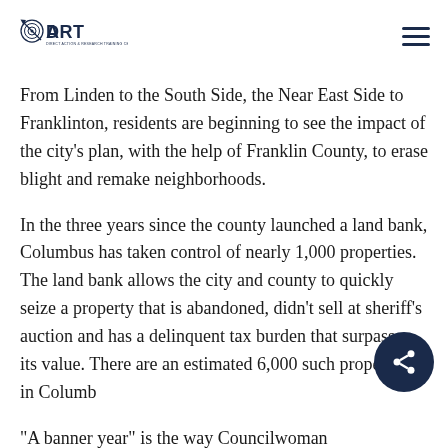DART — Direct Action & Research Training Center
From Linden to the South Side, the Near East Side to Franklinton, residents are beginning to see the impact of the city’s plan, with the help of Franklin County, to erase blight and remake neighborhoods.
In the three years since the county launched a land bank, Columbus has taken control of nearly 1,000 properties. The land bank allows the city and county to quickly seize a property that is abandoned, didn’t sell at sheriff’s auction and has a delinquent tax burden that surpasses its value. There are an estimated 6,000 such properties in Columbus
“A banner year” is the way Councilwoman